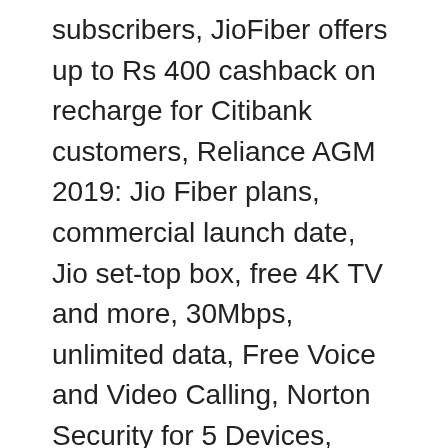subscribers, JioFiber offers up to Rs 400 cashback on recharge for Citibank customers, Reliance AGM 2019: Jio Fiber plans, commercial launch date, Jio set-top box, free 4K TV and more, 30Mbps, unlimited data, Free Voice and Video Calling, Norton Security for 5 Devices, 100Mbps, unlimited data, Free Voice and Video Calling, Norton Security for 5 Devices, 150Mbps, unlimited data, Free Voice and Video Calling, Norton Security for 5 Devices, 11 OTT subscriptions, 300Mbps, unlimited data, Free Voice and Video Calling, Norton Security for 5 DevicesCalling, Norton Security for 5 Devices, 12 OTT subscriptions, 500Mbps, up to 4,000GB data, Free Voice and